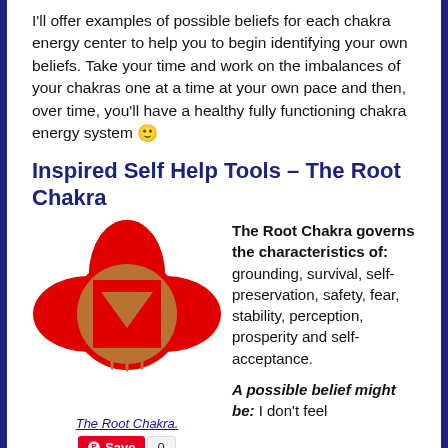I'll offer examples of possible beliefs for each chakra energy center to help you to begin identifying your own beliefs. Take your time and work on the imbalances of your chakras one at a time at your own pace and then, over time, you'll have a healthy fully functioning chakra energy system 🙂
Inspired Self Help Tools – The Root Chakra
[Figure (illustration): Red Root Chakra symbol: a red four-petal lotus flower shape with a brown circle in the center containing a brown square, and inside the square a downward-pointing brown triangle.]
The Root Chakra.
The Root Chakra governs the characteristics of: grounding, survival, self-preservation, safety, fear, stability, perception, prosperity and self-acceptance.
A possible belief might be: I don't feel